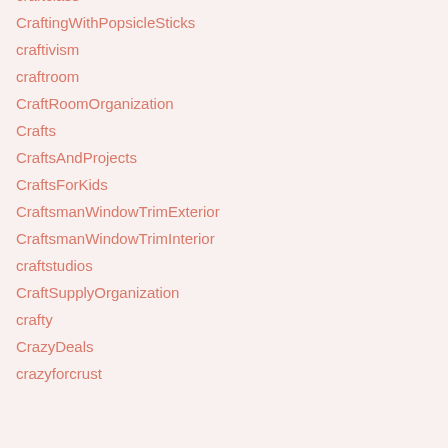craftclass
CraftingWithPopsicleSticks
craftivism
craftroom
CraftRoomOrganization
Crafts
CraftsAndProjects
CraftsForKids
CraftsmanWindowTrimExterior
CraftsmanWindowTrimInterior
craftstudios
CraftSupplyOrganization
crafty
CrazyDeals
crazyforcrust